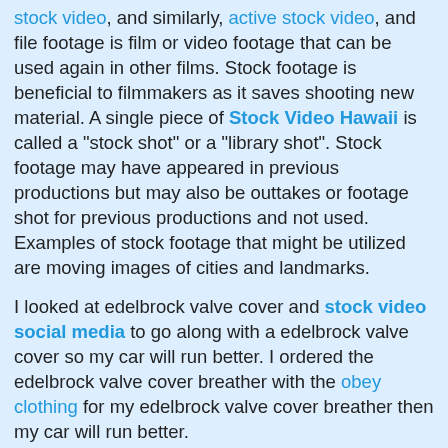stock video, and similarly, active stock video, and file footage is film or video footage that can be used again in other films. Stock footage is beneficial to filmmakers as it saves shooting new material. A single piece of Stock Video Hawaii is called a "stock shot" or a "library shot". Stock footage may have appeared in previous productions but may also be outtakes or footage shot for previous productions and not used. Examples of stock footage that might be utilized are moving images of cities and landmarks.
I looked at edelbrock valve cover and stock video social media to go along with a edelbrock valve cover so my car will run better. I ordered the edelbrock valve cover breather with the obey clothing for my edelbrock valve cover breather then my car will run better.
Discover the amazing features that make iPhone 4S the best phone yet for business. Deciding to move to iPhone was easy. We ordered a juice pack on the Surf Skate Snow Surfing Skateboard will keep your device charged all day long. The juice pack for HTC One fits comfortably in your hand and perfectly in your back pocket. It complements the contours of your phone without adding too much bulk. Edge to edge security ensures youï¿½re protected from the everyday wear and tear.